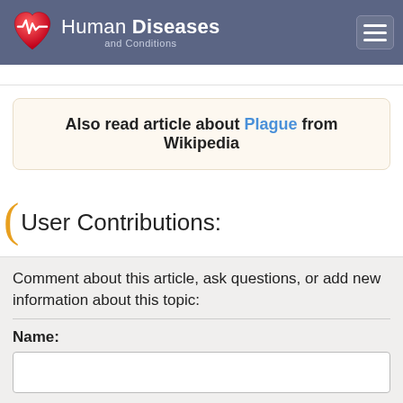Human Diseases and Conditions
Also read article about Plague from Wikipedia
User Contributions:
Comment about this article, ask questions, or add new information about this topic:
Name:
E-mail: